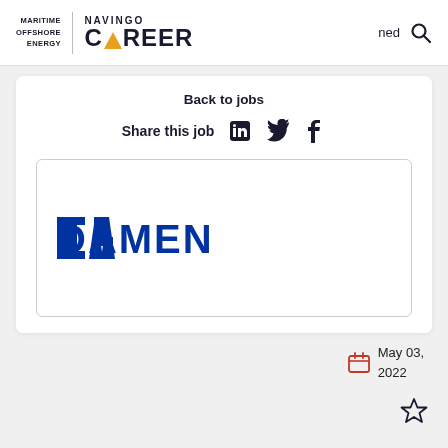[Figure (logo): Navingo Career logo with Maritime Offshore Energy text and search icon in header]
Back to jobs
Share this job
[Figure (logo): Damen company logo in blue bold stylized font]
May 03, 2022
[Figure (other): Star/bookmark icon]